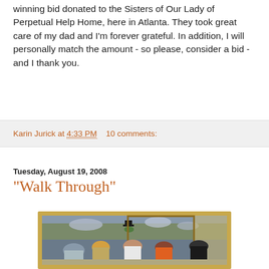winning bid donated to the Sisters of Our Lady of Perpetual Help Home, here in Atlanta. They took great care of my dad and I'm forever grateful. In addition, I will personally match the amount - so please, consider a bid - and I thank you.
Karin Jurick at 4:33 PM    10 comments:
Tuesday, August 19, 2008
"Walk Through"
[Figure (photo): A painting showing museum visitors from behind viewing a large framed artwork. A figure in a top hat and Victorian clothing is visible in the painting being viewed. Several visitors including a woman in a striped shirt, blonde woman, woman in white, person in orange shirt, and person in black are standing looking at the painting.]